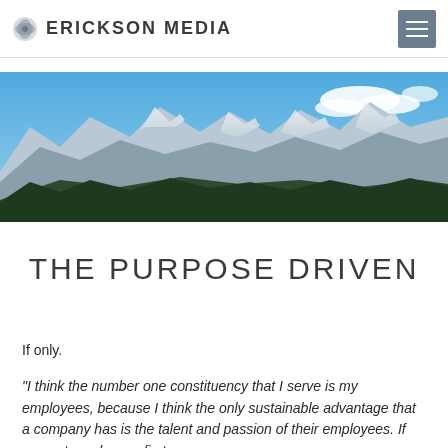ERICKSON MEDIA
[Figure (photo): Panoramic mountain landscape with snow-capped peaks, evergreen forest in the foreground, and blue sky with clouds.]
THE PURPOSE DRIVEN
If only.
"I think the number one constituency that I serve is my employees, because I think the only sustainable advantage that a company has is the talent and passion of their employees. If you put employees first—